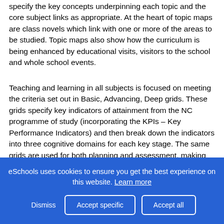specify the key concepts underpinning each topic and the core subject links as appropriate. At the heart of topic maps are class novels which link with one or more of the areas to be studied. Topic maps also show how the curriculum is being enhanced by educational visits, visitors to the school and whole school events.
Teaching and learning in all subjects is focused on meeting the criteria set out in Basic, Advancing, Deep grids. These grids specify key indicators of attainment from the NC programme of study (incorporating the KPIs – Key Performance Indicators) and then break down the indicators into three cognitive domains for each key stage. The same grids are used for both planning and assessment, making the planning, teaching and assessment cycle tight and effective.
eSchools uses cookies to ensure you get the best experience on this website. Learn more